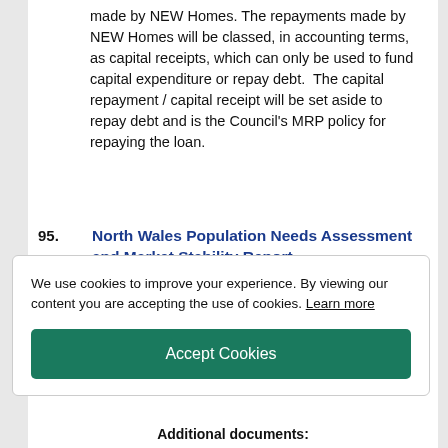made by NEW Homes. The repayments made by NEW Homes will be classed, in accounting terms, as capital receipts, which can only be used to fund capital expenditure or repay debt.  The capital repayment / capital receipt will be set aside to repay debt and is the Council's MRP policy for repaying the loan.
95.   North Wales Population Needs Assessment and Market Stability Report
We use cookies to improve your experience. By viewing our content you are accepting the use of cookies. Learn more
Accept Cookies
Additional documents: